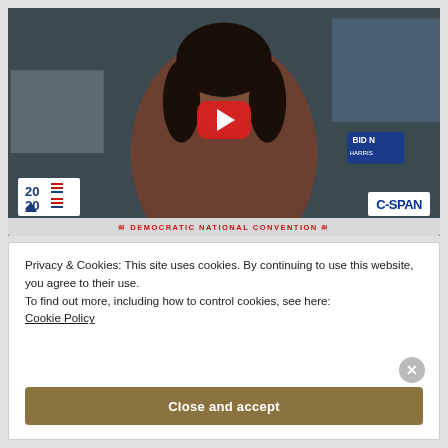[Figure (screenshot): YouTube video thumbnail showing C-SPAN broadcast of Democratic National Convention with a woman in brown top seated, red play button overlay, 2020 logo bottom left, C-SPAN logo bottom right, DNC banner at bottom]
Privacy & Cookies: This site uses cookies. By continuing to use this website, you agree to their use.
To find out more, including how to control cookies, see here: Cookie Policy
Close and accept